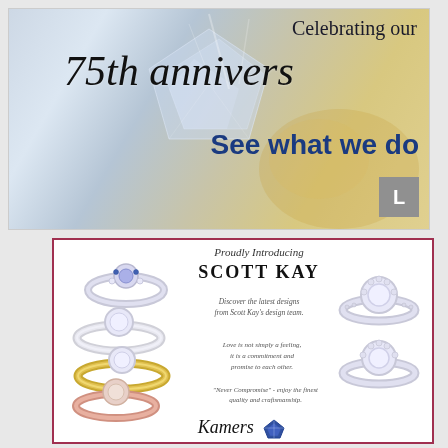[Figure (illustration): Top advertisement banner with diamond/gem background image. Text overlay reads 'Celebrating our 75th anniversary' in script font and 'See what we do' in bold blue. Gray button box in bottom-right corner with 'L' visible.]
[Figure (illustration): Bottom advertisement for Scott Kay jewelry. Shows multiple diamond engagement rings on left and right sides. Center text: 'Proudly Introducing SCOTT KAY. Discover the latest designs from Scott Kay's design team. Love is not simply a feeling, it is a commitment and promise to each other. Never Compromise - enjoy the finest quality and craftsmanship.' Script logo at bottom.]